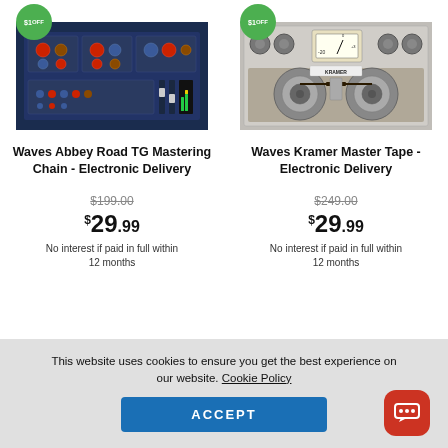[Figure (photo): Audio plugin screenshot: Waves Abbey Road TG Mastering Chain interface with blue/dark studio equipment controls]
[Figure (photo): Audio plugin screenshot: Waves Kramer Master Tape reel-to-reel tape machine interface]
Waves Abbey Road TG Mastering Chain - Electronic Delivery
Waves Kramer Master Tape - Electronic Delivery
$199.00 (strikethrough) $29.99 No interest if paid in full within 12 months
$249.00 (strikethrough) $29.99 No interest if paid in full within 12 months
This website uses cookies to ensure you get the best experience on our website. Cookie Policy
ACCEPT